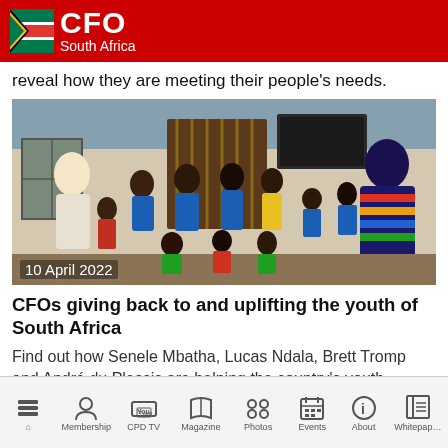CFO South Africa
reveal how they are meeting their people's needs.
[Figure (photo): Group photo of two women with many children in front of a building, dated 10 April 2022]
CFOs giving back to and uplifting the youth of South Africa
Find out how Senele Mbatha, Lucas Ndala, Brett Tromp and André du Plessis are helping the country's youth
Home  Membership  CPD TV  Magazine  Photos  Events  About  Whitepaper